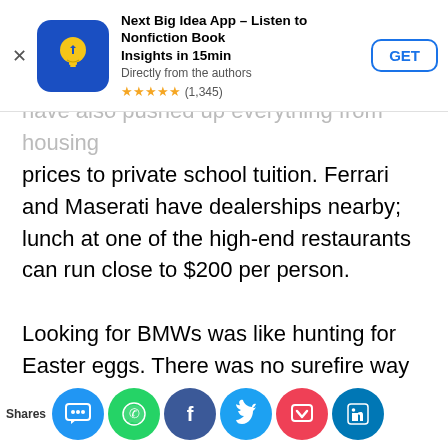[Figure (screenshot): App store advertisement banner for 'Next Big Idea App – Listen to Nonfiction Book Insights in 15min'. Shows app icon (blue background with yellow lightbulb), title, subtitle 'Directly from the authors', 5-star rating with (1,345) reviews, and a GET button.]
have also pushed up everything from housing prices to private school tuition. Ferrari and Maserati have dealerships nearby; lunch at one of the high-end restaurants can run close to $200 per person.

Looking for BMWs was like hunting for Easter eggs. There was no surefire way to know where to find them, so I relied on a little intuition and a lot of luck. I slowly biked up and down different streets, scanning cars for the telltale shape and logo. Then, at each corner, I would stop and try to guess which direction the nearest place
[Figure (screenshot): Social sharing bar at the bottom with icons for: SMS/Share (blue), WhatsApp (green), Facebook (dark blue), Twitter (light blue), Pocket (red), LinkedIn (teal blue). 'Shares' label on the left.]